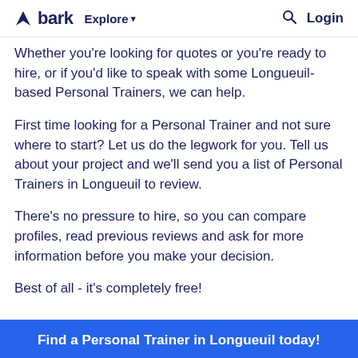bark  Explore  Login
Whether you're looking for quotes or you're ready to hire, or if you'd like to speak with some Longueuil-based Personal Trainers, we can help.
First time looking for a Personal Trainer and not sure where to start? Let us do the legwork for you. Tell us about your project and we'll send you a list of Personal Trainers in Longueuil to review.
There's no pressure to hire, so you can compare profiles, read previous reviews and ask for more information before you make your decision.
Best of all - it's completely free!
Find a Personal Trainer in Longueuil today!